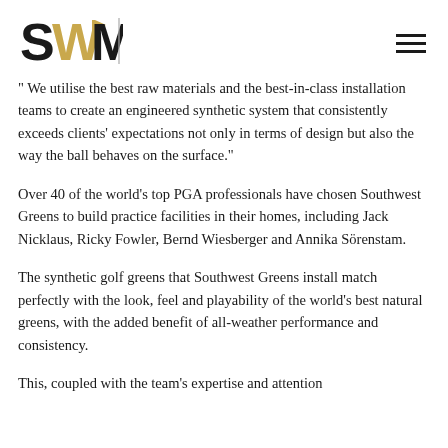SWM logo and navigation
" We utilise the best raw materials and the best-in-class installation teams to create an engineered synthetic system that consistently exceeds clients' expectations not only in terms of design but also the way the ball behaves on the surface."
Over 40 of the world's top PGA professionals have chosen Southwest Greens to build practice facilities in their homes, including Jack Nicklaus, Ricky Fowler, Bernd Wiesberger and Annika Sörenstam.
The synthetic golf greens that Southwest Greens install match perfectly with the look, feel and playability of the world's best natural greens, with the added benefit of all-weather performance and consistency.
This, coupled with the team's expertise and attention